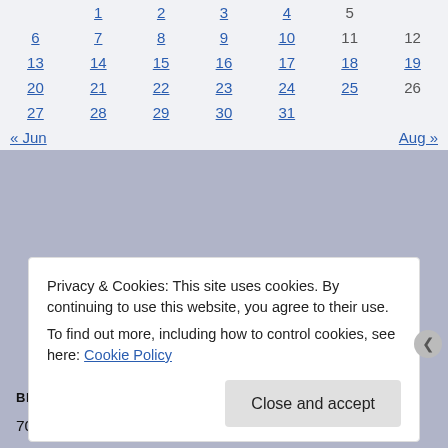| Sun | Mon | Tue | Wed | Thu | Fri | Sat |
| --- | --- | --- | --- | --- | --- | --- |
|  | 1 | 2 | 3 | 4 | 5 |  |
| 6 | 7 | 8 | 9 | 10 | 11 | 12 |
| 13 | 14 | 15 | 16 | 17 | 18 | 19 |
| 20 | 21 | 22 | 23 | 24 | 25 | 26 |
| 27 | 28 | 29 | 30 | 31 |  |  |
« Jun   Aug »
BLOG STATS
703,721 hits
Privacy & Cookies: This site uses cookies. By continuing to use this website, you agree to their use.
To find out more, including how to control cookies, see here: Cookie Policy
Close and accept